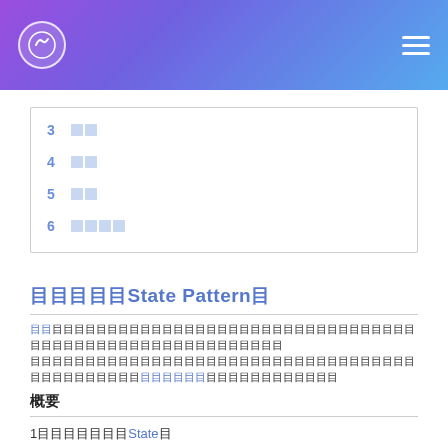Header bar with logo and navigation
| 3 | 目 |
| 4 | 目 |
| 5 | 目 |
| 6 | 目目目目 |
目目目目目State Pattern目
目目目目目目目目目目目目目目目目目目目目目目目目目目目目目目目目目目目目目目目目目目目目目目目目目目目目目目目目
目目目目目目目目目目目目目目目目目目目目目目目目目目目目目目目目目目目目目目目目目目目目目目目目目目目目目目目目目目目目目目目目目目目目目目目目目目目目目目
概要
1目目目目目目State目